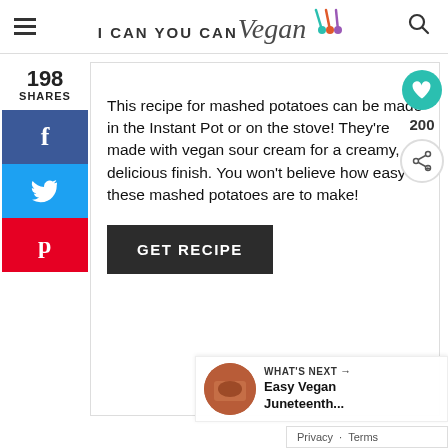I CAN YOU CAN Vegan
This recipe for mashed potatoes can be made in the Instant Pot or on the stove! They're made with vegan sour cream for a creamy, delicious finish. You won't believe how easy these mashed potatoes are to make!
GET RECIPE
198 SHARES
200
WHAT'S NEXT → Easy Vegan Juneteenth...
Privacy · Terms